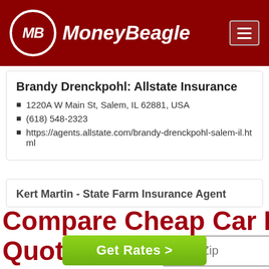MoneyBeagle
Brandy Drenckpohl: Allstate Insurance
1220A W Main St, Salem, IL 62881, USA
(618) 548-2323
https://agents.allstate.com/brandy-drenckpohl-salem-il.html
Kert Martin - State Farm Insurance Agent
Compare Cheap Car Insurance Quotes Now
[Figure (screenshot): Zip code input field with placeholder 'Enter Zip' and a green 'Get Rates >' button]